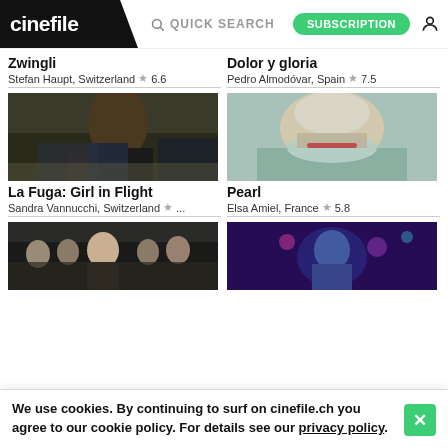cinefile | QUICK SEARCH | SUBSCRIPTION
Zwingli
Stefan Haupt, Switzerland ★ 6.6
[Figure (photo): Still from La Fuga: Girl in Flight — a woman with dark curly hair carrying bags in a junkyard setting]
La Fuga: Girl in Flight
Sandra Vannucchi, Switzerland ★ ...
[Figure (photo): Still from a film — group of men in suits with a woman in the center, formal setting]
Dolor y gloria
Pedro Almodóvar, Spain ★ 7.5
[Figure (photo): Still from Pearl — close-up of a blonde woman with red lipstick in a teal shimmery outfit, looking down]
Pearl
Elsa Amiel, France ★ 5.8
[Figure (photo): Still from a film — performer in purple/blue stage lighting with colorful decorations]
We use cookies. By continuing to surf on cinefile.ch you agree to our cookie policy. For details see our privacy policy.